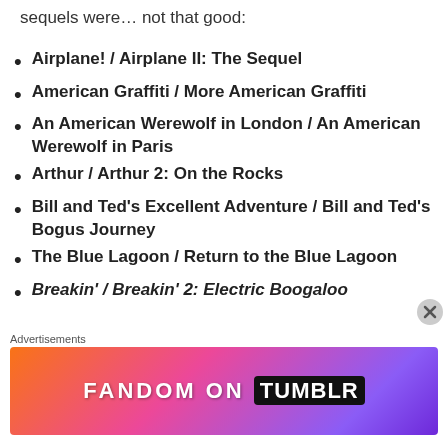sequels were… not that good:
Airplane! / Airplane II: The Sequel
American Graffiti / More American Graffiti
An American Werewolf in London / An American Werewolf in Paris
Arthur / Arthur 2: On the Rocks
Bill and Ted's Excellent Adventure / Bill and Ted's Bogus Journey
The Blue Lagoon / Return to the Blue Lagoon
Breakin' / Breakin' 2: Electric Boogaloo
[Figure (infographic): Fandom on Tumblr advertisement banner with colorful gradient background]